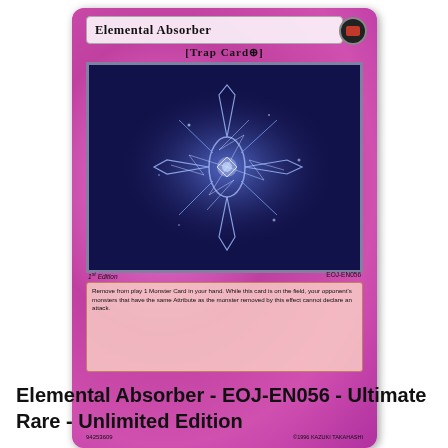[Figure (illustration): Yu-Gi-Oh! trading card titled 'Elemental Absorber', a Trap Card with set number EOJ-EN056, 1st Edition, showing a glowing blue energy star/crystal figure on dark background, with pink card border and effect text box.]
Elemental Absorber - EOJ-EN056 - Ultimate Rare - Unlimited Edition